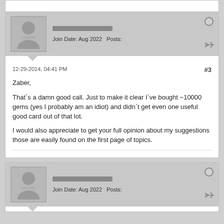Join Date: Aug 2022  Posts:
12-29-2014, 04:41 PM  #3
Zaber,

That`s a damn good call. Just to make it clear I`ve bought ~10000 gems (yes I probably am an idiot) and didn`t get even one useful good card out of that lot.

I would also appreciate to get your full opinion about my suggestions those are easily found on the first page of topics.
Join Date: Aug 2022  Posts: